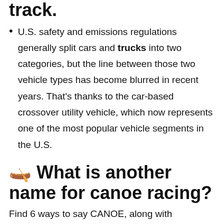track.
U.S. safety and emissions regulations generally split cars and trucks into two categories, but the line between those two vehicle types has become blurred in recent years. That's thanks to the car-based crossover utility vehicle, which now represents one of the most popular vehicle segments in the U.S.
🛶 What is another name for canoe racing?
Find 6 ways to say CANOE, along with antonyms